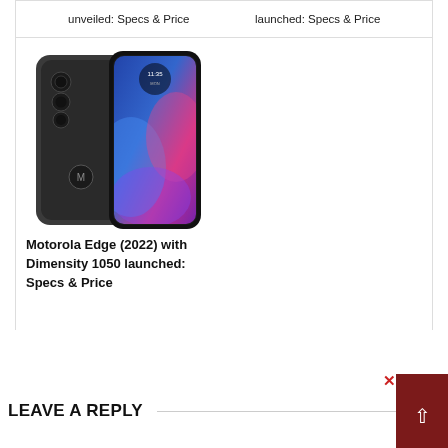unveiled: Specs & Price
launched: Specs & Price
[Figure (photo): Motorola Edge 2022 smartphone shown from back and front at an angle, dark grey color with colorful abstract wallpaper on screen]
Motorola Edge (2022) with Dimensity 1050 launched: Specs & Price
LEAVE A REPLY